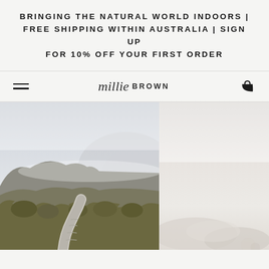BRINGING THE NATURAL WORLD INDOORS | FREE SHIPPING WITHIN AUSTRALIA | SIGN UP FOR 10% OFF YOUR FIRST ORDER
millie BROWN
[Figure (photo): Mountain landscape with a winding path through shrubby vegetation under a misty cloudy sky]
[Figure (photo): Pale soft-focus interior room scene, partial view, light and airy tones]